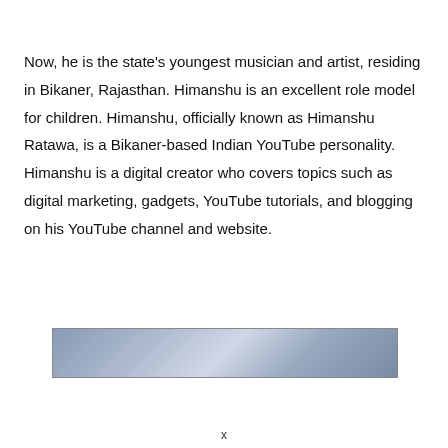Now, he is the state's youngest musician and artist, residing in Bikaner, Rajasthan. Himanshu is an excellent role model for children. Himanshu, officially known as Himanshu Ratawa, is a Bikaner-based Indian YouTube personality. Himanshu is a digital creator who covers topics such as digital marketing, gadgets, YouTube tutorials, and blogging on his YouTube channel and website.
[Figure (photo): A horizontally cropped photo with a blue-grey hazy sky or blurred background, partially visible at the top of the frame.]